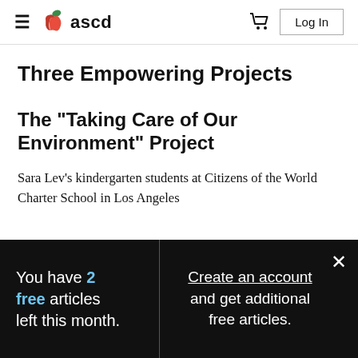≡  ascd   🛒  Log In
Three Empowering Projects
The "Taking Care of Our Environment" Project
Sara Lev's kindergarten students at Citizens of the World Charter School in Los Angeles
You have 2 free articles left this month.
Create an account and get additional free articles.